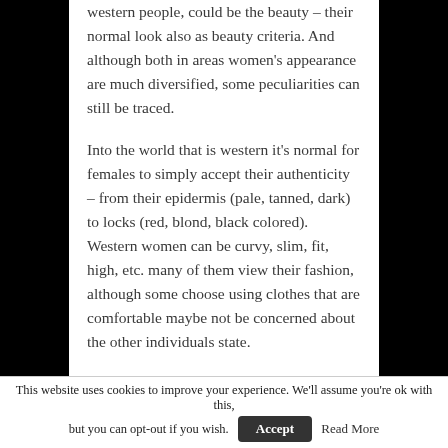western people, could be the beauty – their normal look also as beauty criteria. And although both in areas women's appearance are much diversified, some peculiarities can still be traced.
Into the world that is western it's normal for females to simply accept their authenticity – from their epidermis (pale, tanned, dark) to locks (red, blond, black colored). Western women can be curvy, slim, fit, high, etc. many of them view their fashion, although some choose using clothes that are comfortable maybe not be concerned about the other individuals state.
In Asia, in its change, there was a cult of pale skin,
This website uses cookies to improve your experience. We'll assume you're ok with this, but you can opt-out if you wish. Accept Read More